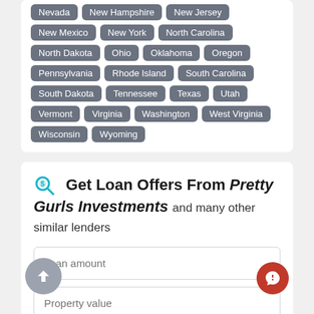Nevada
New Hampshire
New Jersey
New Mexico
New York
North Carolina
North Dakota
Ohio
Oklahoma
Oregon
Pennsylvania
Rhode Island
South Carolina
South Dakota
Tennessee
Texas
Utah
Vermont
Virginia
Washington
West Virginia
Wisconsin
Wyoming
Get Loan Offers From Pretty Gurls Investments and many other similar lenders
Loan amount
Property value
- Select a State -